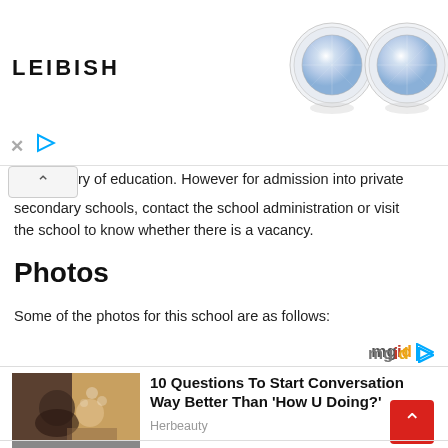[Figure (advertisement): Leibish jewelry advertisement showing diamond earrings with brand logo, close and play controls]
ry of education. However for admission into private secondary schools, contact the school administration or visit the school to know whether there is a vacancy.
Photos
Some of the photos for this school are as follows:
[Figure (advertisement): mgid sponsored content widget showing article '10 Questions To Start Conversation Way Better Than How U Doing?' from Herbeauty with couple photo thumbnail]
[Figure (advertisement): Partial second mgid widget row visible at bottom of page]